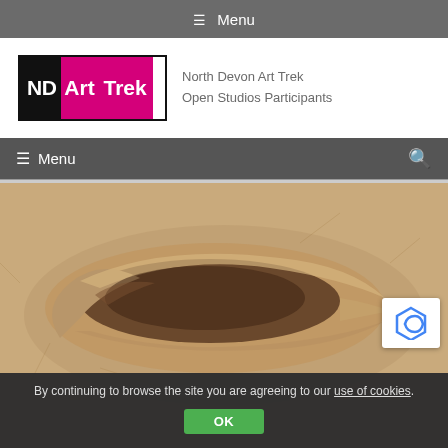☰ Menu
[Figure (logo): NDArt Trek logo with tagline: North Devon Art Trek Open Studios Participants]
☰ Menu
[Figure (photo): Clay or ceramic bowl/vessel sculpture photographed from above on a textured sandy surface, showing an oval opening with organic hand-formed edges]
By continuing to browse the site you are agreeing to our use of cookies.
OK